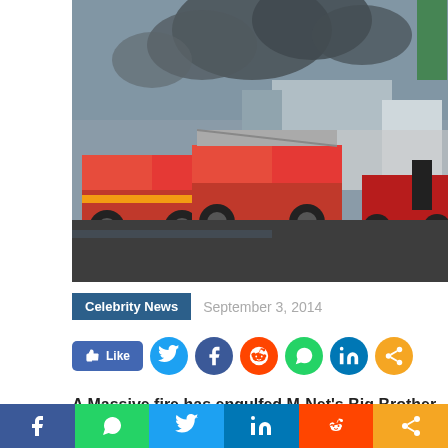[Figure (photo): Fire trucks and emergency vehicles at a fire scene with large black smoke clouds rising in the background. Two red fire trucks are visible in the foreground on a dark paved area.]
Celebrity News   September 3, 2014
[Figure (infographic): Social sharing buttons row: Facebook Like button, Twitter, Facebook, Reddit, WhatsApp, LinkedIn, Share icons]
A Massive fire has engulfed M-Net's Big Brother Africa
[Figure (infographic): Bottom social sharing bar with icons: Facebook (blue), WhatsApp (green), Twitter (light blue), LinkedIn (dark blue), Reddit (orange-red), Share (orange)]